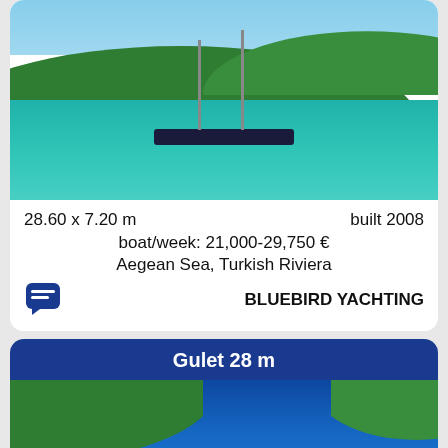[Figure (photo): Sailing gulet anchored in turquoise bay with green hills in background]
28.60 x 7.20 m    built 2008
boat/week: 21,000-29,750 €
Aegean Sea, Turkish Riviera
BLUEBIRD YACHTING
Gulet 28 m
[Figure (photo): Aerial view of gulet moored near green coastline in deep blue water]